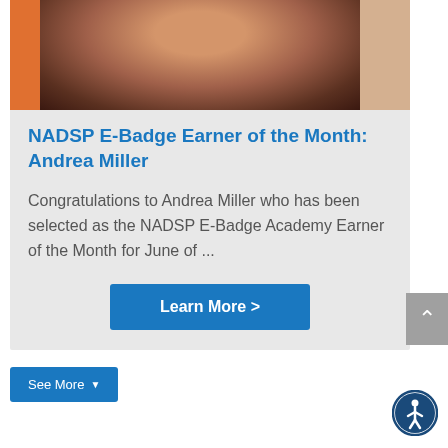[Figure (photo): Partial photo strip showing a woman with dark hair wearing a purple top, with an orange background on the left and a lighter image on the right]
NADSP E-Badge Earner of the Month: Andrea Miller
Congratulations to Andrea Miller who has been selected as the NADSP E-Badge Academy Earner of the Month for June of ...
Learn More >
See More ▾